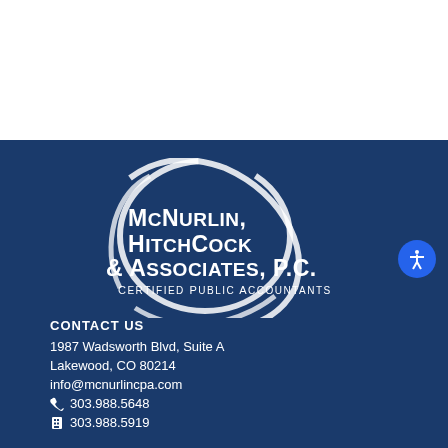[Figure (logo): McNurlin, Hitchcock & Associates, P.C. Certified Public Accountants logo with circular swoosh design on dark blue background]
CONTACT US
1987 Wadsworth Blvd, Suite A
Lakewood, CO 80214
info@mcnurlincpa.com
303.988.5648
303.988.5919